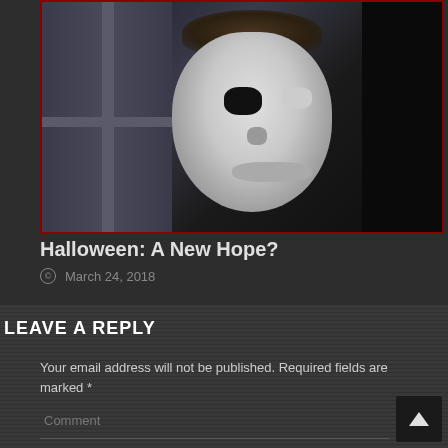[Figure (photo): A horror movie still showing a person wearing a white Michael Myers mask, partially hidden beside a window frame with vertical and horizontal panes, against a dark background]
Halloween: A New Hope?
March 24, 2018
LEAVE A REPLY
Your email address will not be published. Required fields are marked *
Comment